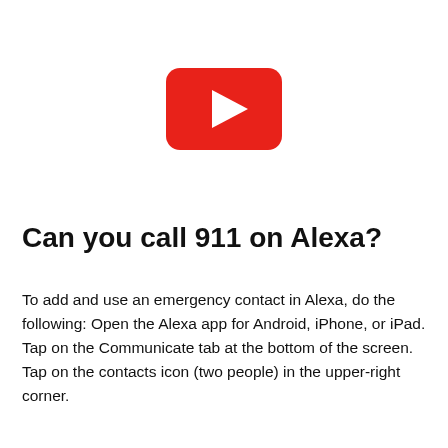[Figure (logo): YouTube logo: red rounded rectangle with white play triangle in the center]
Can you call 911 on Alexa?
To add and use an emergency contact in Alexa, do the following: Open the Alexa app for Android, iPhone, or iPad. Tap on the Communicate tab at the bottom of the screen. Tap on the contacts icon (two people) in the upper-right corner.